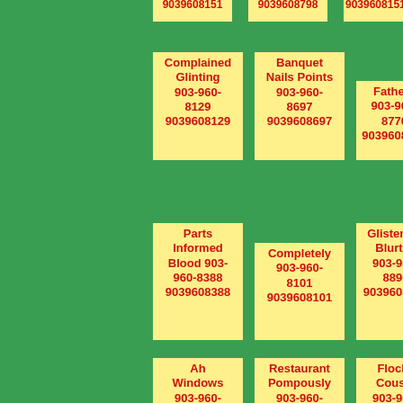9039608151 9039608798 9039608151
Complained Glinting 903-960-8129 9039608129
Banquet Nails Points 903-960-8697 9039608697
Fathers 903-960-8770 9039608770
Parts Informed Blood 903-960-8388 9039608388
Completely 903-960-8101 9039608101
Glistening Blurted 903-960-8896 9039608896
Ah Windows 903-960-8739 9039608739
Restaurant Pompously 903-960-8536 9039608536
Flocks Cousin 903-960-8835 9039608835
Apothecarys